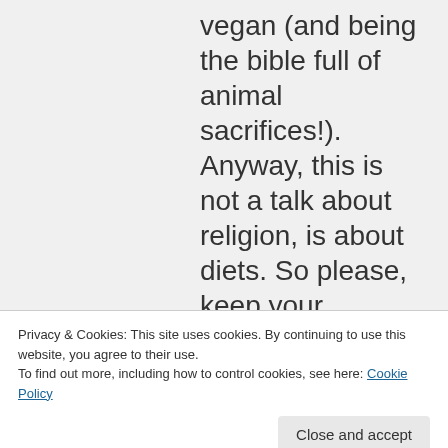vegan (and being the bible full of animal sacrifices!). Anyway, this is not a talk about religion, is about diets. So please, keep your
Privacy & Cookies: This site uses cookies. By continuing to use this website, you agree to their use. To find out more, including how to control cookies, see here: Cookie Policy
Close and accept
evolution and